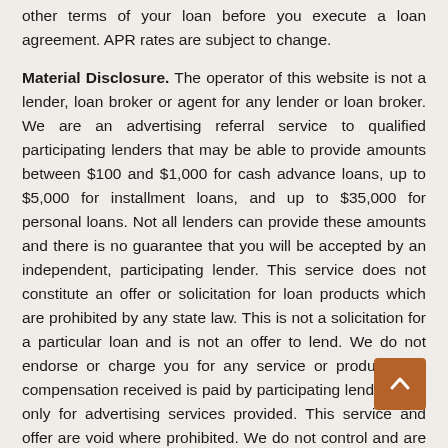other terms of your loan before you execute a loan agreement. APR rates are subject to change.
Material Disclosure. The operator of this website is not a lender, loan broker or agent for any lender or loan broker. We are an advertising referral service to qualified participating lenders that may be able to provide amounts between $100 and $1,000 for cash advance loans, up to $5,000 for installment loans, and up to $35,000 for personal loans. Not all lenders can provide these amounts and there is no guarantee that you will be accepted by an independent, participating lender. This service does not constitute an offer or solicitation for loan products which are prohibited by any state law. This is not a solicitation for a particular loan and is not an offer to lend. We do not endorse or charge you for any service or product. Any compensation received is paid by participating lenders and only for advertising services provided. This service and offer are void where prohibited. We do not control and are not responsible for the actions of any lender. We do not have access to the full terms of your loan, including APR. For details, questions or concerns regarding your loan, please contact your lender directly. Only your lender can provide you with information about your specific loan terms, their current rates and charges, renewal, payments and the implications for non-